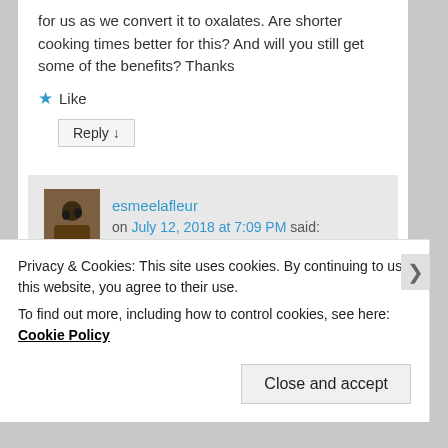for us as we convert it to oxalates. Are shorter cooking times better for this? And will you still get some of the benefits? Thanks
★ Like
Reply ↓
esmeelafleur on July 12, 2018 at 7:09 PM said: yes, shorter cooking times may help.
Privacy & Cookies: This site uses cookies. By continuing to use this website, you agree to their use.
To find out more, including how to control cookies, see here: Cookie Policy